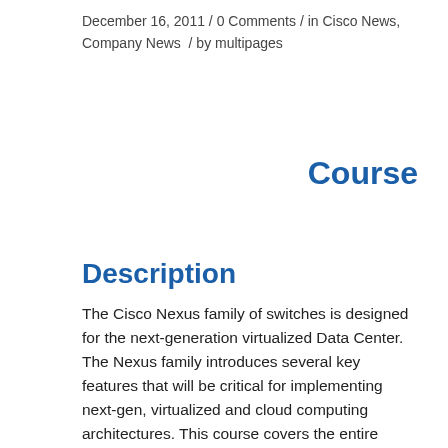December 16, 2011 / 0 Comments / in Cisco News, Company News / by multipages
Course
Description
The Cisco Nexus family of switches is designed for the next-generation virtualized Data Center. The Nexus family introduces several key features that will be critical for implementing next-gen, virtualized and cloud computing architectures. This course covers the entire Nexus product family, but focuses on implementing a Unified Fabric with the Nexus 5000 and 5500 switches.